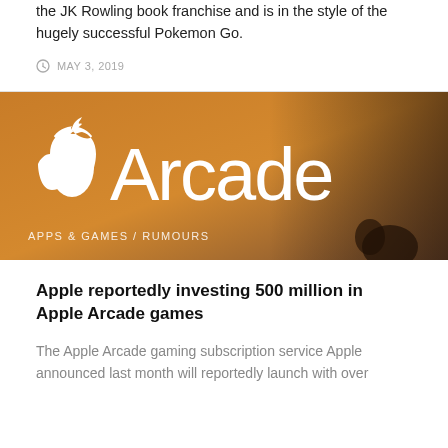the JK Rowling book franchise and is in the style of the hugely successful Pokemon Go.
MAY 3, 2019
[Figure (photo): Apple Arcade banner image with Apple logo and large white text reading 'Arcade' over a warm orange/brown background. Subtitle text reads 'APPS & GAMES / RUMOURS'.]
Apple reportedly investing 500 million in Apple Arcade games
The Apple Arcade gaming subscription service Apple announced last month will reportedly launch with over